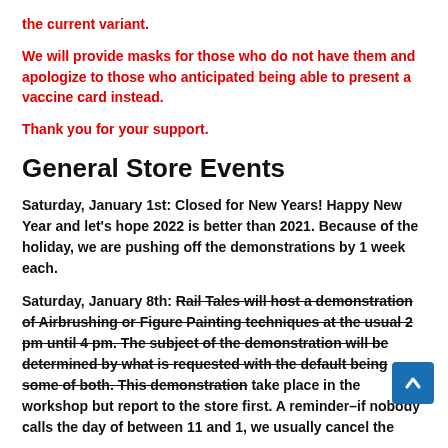the current variant.
We will provide masks for those who do not have them and apologize to those who anticipated being able to present a vaccine card instead.
Thank you for your support.
General Store Events
Saturday, January 1st: Closed for New Years! Happy New Year and let's hope 2022 is better than 2021. Because of the holiday, we are pushing off the demonstrations by 1 week each.
Saturday, January 8th: Rail Tales will host a demonstration of Airbrushing or Figure Painting techniques at the usual 2 pm until 4 pm. The subject of the demonstration will be determined by what is requested with the default being some of both. This demonstration take place in the workshop but report to the store first. A reminder–if nobody calls the day of between 11 and 1, we usually cancel the